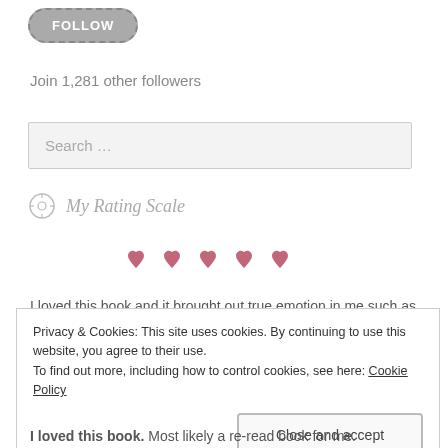[Figure (other): Follow button — gray pill-shaped button with dashed border and white 'FOLLOW' text]
Join 1,281 other followers
Search ...
My Rating Scale
[Figure (other): Five pink/rose heart symbols in a row representing a 5-heart rating]
I loved this book and it brought out true emotion in me such as
Privacy & Cookies: This site uses cookies. By continuing to use this website, you agree to their use.
To find out more, including how to control cookies, see here: Cookie Policy
Close and accept
I loved this book. Most likely a re-read book for me.